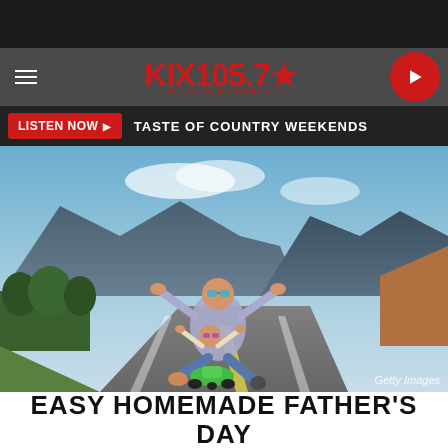[Figure (logo): KIX 105.7 radio station logo with red stylized text and tagline #1 FOR NEW COUNTRY]
LISTEN NOW ▶   TASTE OF COUNTRY WEEKENDS
[Figure (photo): Father and young child riding a green plasma car down a highway with mountains in the background, both wearing sunglasses with arms outstretched. Getty Images credit shown.]
Getty Images
EASY HOMEMADE FATHER'S DAY